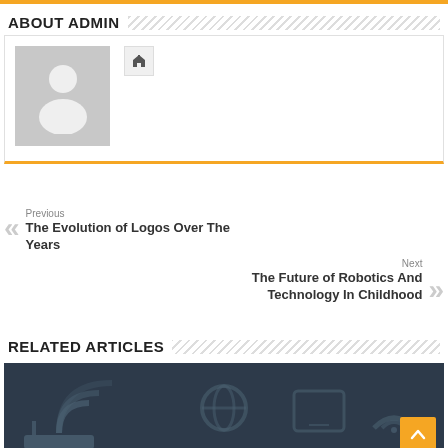ABOUT ADMIN
[Figure (illustration): Default user avatar placeholder with grey background and silhouette icon, with a home icon button to the right]
Previous
The Evolution of Logos Over The Years
Next
The Future of Robotics And Technology In Childhood
RELATED ARTICLES
[Figure (illustration): Dark blue technology/networking related article thumbnail image]